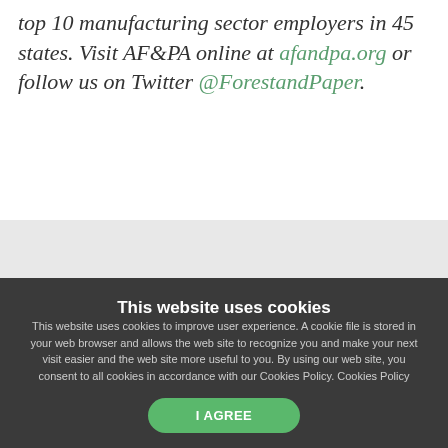top 10 manufacturing sector employers in 45 states. Visit AF&PA online at afandpa.org or follow us on Twitter @ForestandPaper.
This website uses cookies
This website uses cookies to improve user experience. A cookie file is stored in your web browser and allows the web site to recognize you and make your next visit easier and the web site more useful to you. By using our web site, you consent to all cookies in accordance with our Cookies Policy. Cookies Policy